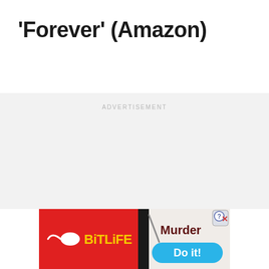'Forever' (Amazon)
ADVERTISEMENT
[Figure (screenshot): BitLife mobile game advertisement banner. Red background on left with BitLife logo (white sperm cell icon and yellow 'BiTLiFE' text). Black strip in center. Right side shows 'Murder' text in dark red and 'Do it!' button in blue on light background. Question mark and X close button in top right corner.]